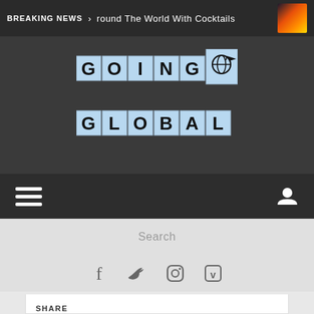BREAKING NEWS > round The World With Cocktails
[Figure (logo): Going Global logo with scrabble-tile style letters on light blue tiles, with airplane/globe icon]
[Figure (other): Navigation bar with hamburger menu icon on left and user/person icon on right]
Search
[Figure (other): Social media icons: Facebook (f), Twitter (bird), Instagram (camera), Vimeo (v)]
SHARE